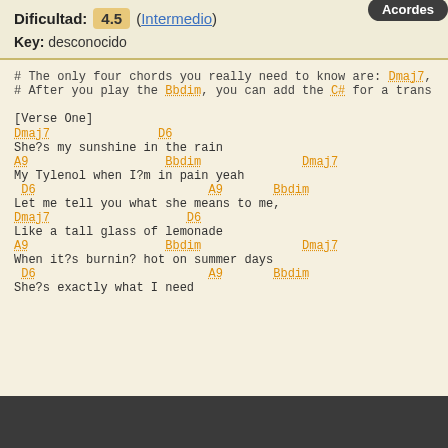Dificultad: 4.5 (Intermedio)
Key: desconocido
# The only four chords you really need to know are: Dmaj7,
# After you play the Bbdim, you can add the C# for a trans
[Verse One]
Dmaj7                D6
She?s my sunshine in the rain
A9                   Bbdim              Dmaj7
My Tylenol when I?m in pain yeah
D6                        A9       Bbdim
Let me tell you what she means to me,
Dmaj7                   D6
Like a tall glass of lemonade
A9                   Bbdim              Dmaj7
When it?s burnin? hot on summer days
D6                        A9       Bbdim
She?s exactly what I need